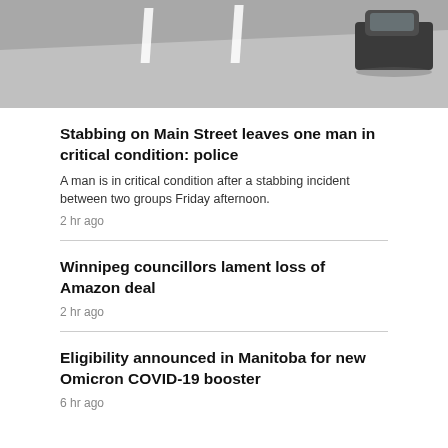[Figure (photo): Aerial or street-level photo of a road/parking lot with a dark vehicle visible in the upper right portion.]
Stabbing on Main Street leaves one man in critical condition: police
A man is in critical condition after a stabbing incident between two groups Friday afternoon.
2 hr ago
Winnipeg councillors lament loss of Amazon deal
2 hr ago
Eligibility announced in Manitoba for new Omicron COVID-19 booster
6 hr ago